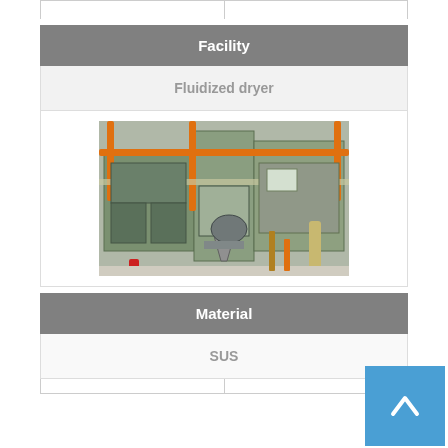|  |  |
| --- | --- |
|  |  |
Facility
Fluidized dryer
[Figure (photo): Industrial fluidized dryer equipment photograph showing large green/grey metal machinery with orange railings and piping in an industrial facility]
Material
SUS
|  |  |
| --- | --- |
|  |  |